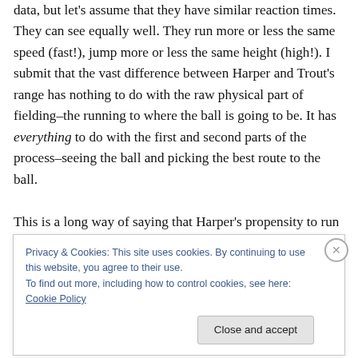data, but let's assume that they have similar reaction times. They can see equally well. They run more or less the same speed (fast!), jump more or less the same height (high!). I submit that the vast difference between Harper and Trout's range has nothing to do with the raw physical part of fielding–the running to where the ball is going to be. It has everything to do with the first and second parts of the process–seeing the ball and picking the best route to the ball.

This is a long way of saying that Harper's propensity to run into, at, or through outfield walls has nothing at all to do
Privacy & Cookies: This site uses cookies. By continuing to use this website, you agree to their use. To find out more, including how to control cookies, see here: Cookie Policy